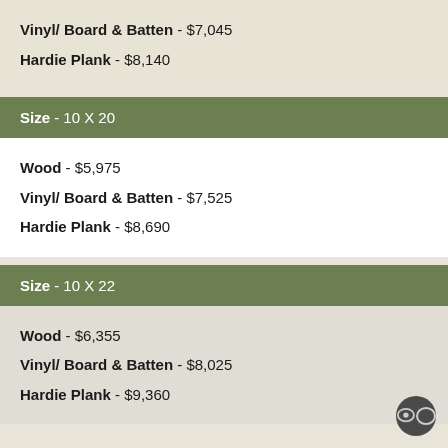Vinyl/ Board & Batten - $7,045
Hardie Plank - $8,140
Size - 10 X 20
Wood - $5,975
Vinyl/ Board & Batten - $7,525
Hardie Plank - $8,690
Size - 10 X 22
Wood - $6,355
Vinyl/ Board & Batten - $8,025
Hardie Plank - $9,360